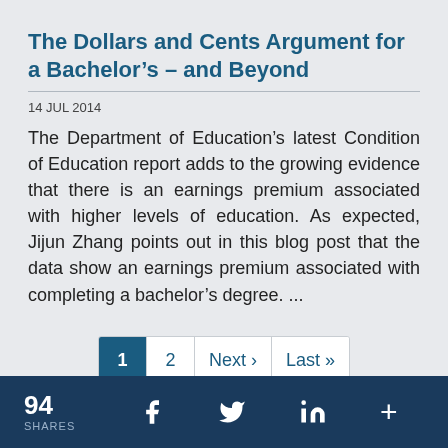The Dollars and Cents Argument for a Bachelor’s – and Beyond
14 JUL 2014
The Department of Education’s latest Condition of Education report adds to the growing evidence that there is an earnings premium associated with higher levels of education. As expected, Jijun Zhang points out in this blog post that the data show an earnings premium associated with completing a bachelor’s degree. ...
94 SHARES  f  [Twitter]  in  +